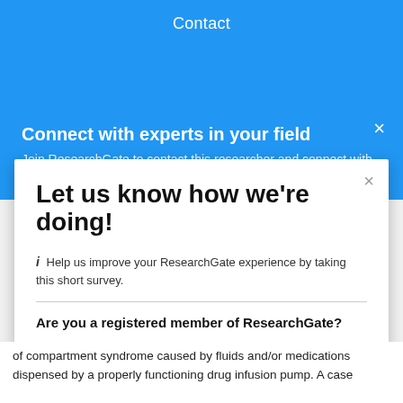Contact
Connect with experts in your field
Join ResearchGate to contact this researcher and connect with
Let us know how we're doing!
i Help us improve your ResearchGate experience by taking this short survey.
Are you a registered member of ResearchGate?
Yes
No
Next
of compartment syndrome caused by fluids and/or medications dispensed by a properly functioning drug infusion pump. A case